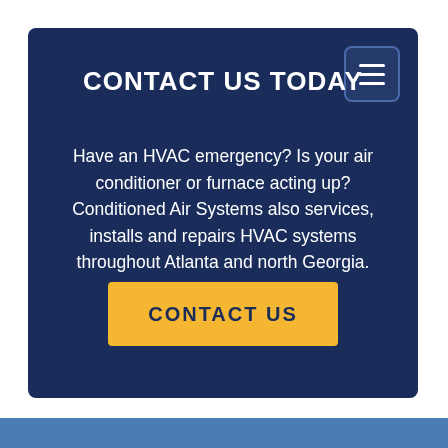CONTACT US TODAY
Have an HVAC emergency? Is your air conditioner or furnace acting up? Conditioned Air Systems also services, installs and repairs HVAC systems throughout Atlanta and north Georgia.
[Figure (other): Yellow call-to-action button with text CONTACT US in dark navy blue uppercase letters]